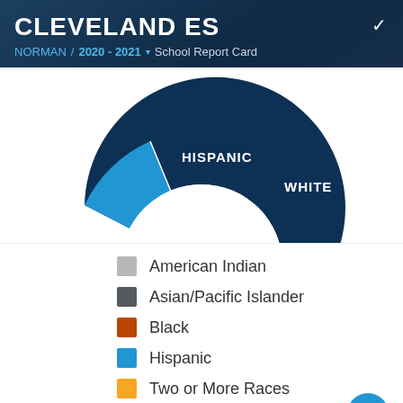CLEVELAND ES
NORMAN / 2020 - 2021 ▾ School Report Card
[Figure (donut-chart): Donut chart showing student demographics at Cleveland ES. White is the largest segment, Hispanic is second largest. Top half of donut visible with Hispanic and White labels.]
American Indian
Asian/Pacific Islander
Black
Hispanic
Two or More Races
White